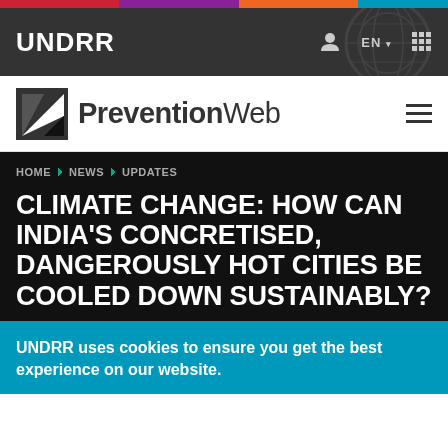UNDRR  EN  [grid icon]
[Figure (logo): PreventionWeb logo with dark triangular icon and text PreventionWeb, hamburger menu icon on the right]
HOME > NEWS > UPDATES
CLIMATE CHANGE: HOW CAN INDIA'S CONCRETISED, DANGEROUSLY HOT CITIES BE COOLED DOWN SUSTAINABLY?
UNDRR uses cookies to ensure you get the best experience on our website.